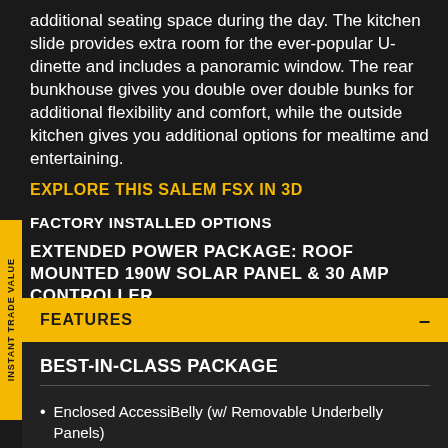additional seating space during the day. The kitchen slide provides extra room for the ever-popular U-dinette and includes a panoramic window. The rear bunkhouse gives you double over double bunks for additional flexibility and comfort, while the outside kitchen gives you additional options for mealtime and entertaining.
EXPLORE THIS SALEM FSX IN 3D
FACTORY INSTALLED OPTIONS
EXTENDED POWER PACKAGE: ROOF MOUNTED 190W SOLAR PANEL & 30 AMP CONTROLLER
FEATURES
BEST-IN-CLASS PACKAGE
Enclosed AccessiBelly (w/ Removable Underbelly Panels)
Large Capacity 11 CU FT Frost-Free Refrigerator (12-Volt)
Seamless Countertops (No T-Mold)